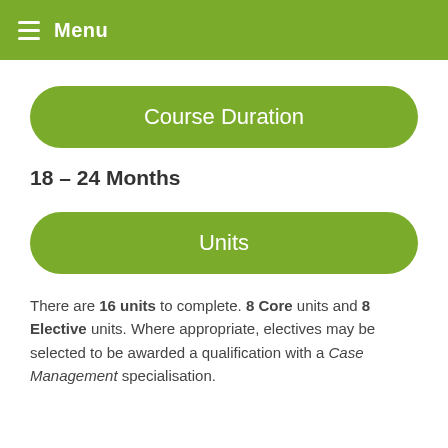Menu
Course Duration
18 – 24 Months
Units
There are 16 units to complete. 8 Core units and 8 Elective units. Where appropriate, electives may be selected to be awarded a qualification with a Case Management specialisation.